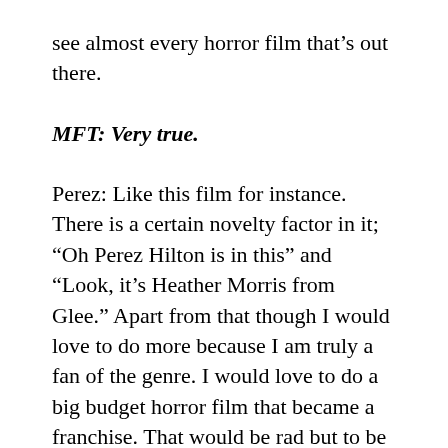see almost every horror film that's out there.
MFT: Very true.
Perez: Like this film for instance. There is a certain novelty factor in it; “Oh Perez Hilton is in this” and “Look, it’s Heather Morris from Glee.” Apart from that though I would love to do more because I am truly a fan of the genre. I would love to do a big budget horror film that became a franchise. That would be rad but to be honest I just want to keep working. That is the goal for entertai— I got to be